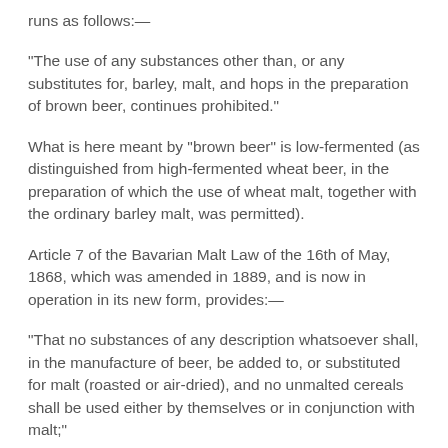runs as follows:—
“The use of any substances other than, or any substitutes for, barley, malt, and hops in the preparation of brown beer, continues prohibited.”
What is here meant by “brown beer” is low-fermented (as distinguished from high-fermented wheat beer, in the preparation of which the use of wheat malt, together with the ordinary barley malt, was permitted).
Article 7 of the Bavarian Malt Law of the 16th of May, 1868, which was amended in 1889, and is now in operation in its new form, provides:—
"That no substances of any description whatsoever shall, in the manufacture of beer, be added to, or substituted for malt (roasted or air-dried), and no unmalted cereals shall be used either by themselves or in conjunction with malt;"